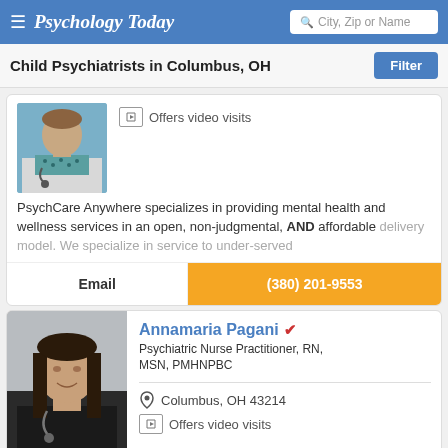Psychology Today — City, Zip or Name search
Child Psychiatrists in Columbus, OH
[Figure (photo): Partial photo of a doctor wearing a white coat and teal polka-dot shirt with a stethoscope]
Offers video visits
PsychCare Anywhere specializes in providing mental health and wellness services in an open, non-judgmental, AND affordable delivery model. We specialize in service to under-served
Email
(380) 201-9553
[Figure (photo): Photo of Annamaria Pagani, a woman with long dark hair, smiling, wearing a dark top with a stethoscope]
Annamaria Pagani
Psychiatric Nurse Practitioner, RN, MSN, PMHNPBC
Columbus, OH 43214
Offers video visits